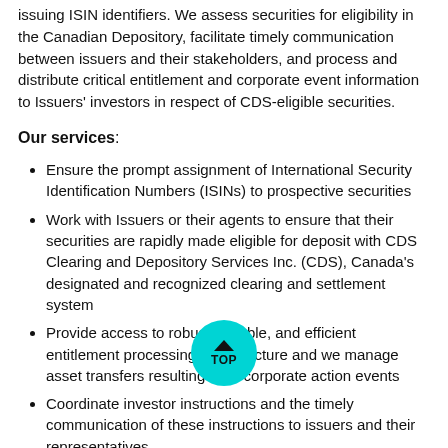issuing ISIN identifiers. We assess securities for eligibility in the Canadian Depository, facilitate timely communication between issuers and their stakeholders, and process and distribute critical entitlement and corporate event information to Issuers' investors in respect of CDS-eligible securities.
Our services:
Ensure the prompt assignment of International Security Identification Numbers (ISINs) to prospective securities
Work with Issuers or their agents to ensure that their securities are rapidly made eligible for deposit with CDS Clearing and Depository Services Inc. (CDS), Canada's designated and recognized clearing and settlement system
Provide access to robust, reliable, and efficient entitlement processing infrastructure and we manage asset transfers resulting from corporate action events
Coordinate investor instructions and the timely communication of these instructions to issuers and their representatives
Enable the secure and seamless transfer of trillions of dollars of entitlement payments from issuers to beneficial holders each year
Facilitate electronic transmission of large value payments